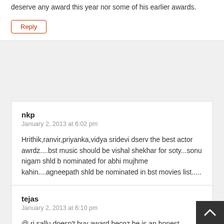deserve any award this year nor some of his earlier awards.
Reply
nkp
January 2, 2013 at 6:02 pm
Hrithik,ranvir,priyanka,vidya sridevi dserv the best actor awrdz....bst music should be vishal shekhar for soty...sonu nigam shld b nominated for abhi mujhme kahin....agneepath shld be nominated in bst movies list.....
Reply
tejas
January 2, 2013 at 6:10 pm
@ ri sallu doesn't buv award becoz he is an honest